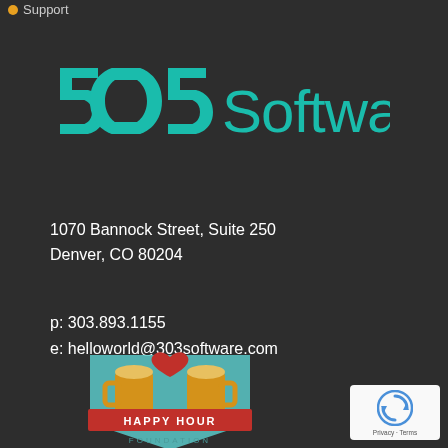Support
[Figure (logo): 303 Software logo in teal/turquoise color on dark background. '303' in stylized block letters followed by 'Software' in a clean sans-serif font.]
1070 Bannock Street, Suite 250
Denver, CO 80204
p: 303.893.1155
e: helloworld@303software.com
[Figure (logo): Happy Hour Foundation logo: two golden beer mug silhouettes clinking with a red heart above them, on a teal/light blue background with a red banner reading 'HAPPY HOUR' and 'FOUNDATION' text below.]
[Figure (other): Google reCAPTCHA badge with rotating arrows icon and 'Privacy · Terms' text on white background.]